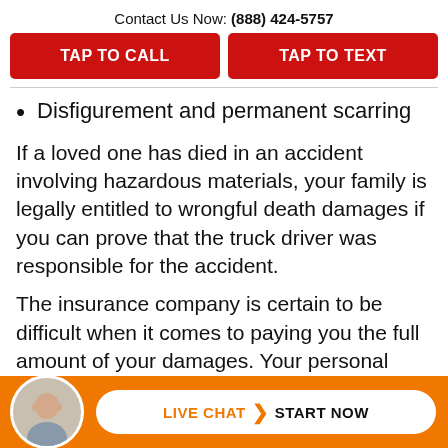Contact Us Now: (888) 424-5757
TAP TO CALL
TAP TO TEXT
Disfigurement and permanent scarring
If a loved one has died in an accident involving hazardous materials, your family is legally entitled to wrongful death damages if you can prove that the truck driver was responsible for the accident.
The insurance company is certain to be difficult when it comes to paying you the full amount of your damages. Your personal injury lawyer could negotiate appropriate
LIVE CHAT START NOW